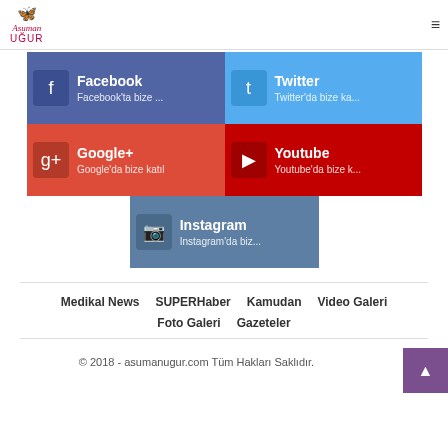Asuman UĞUR
[Figure (infographic): Social media links grid: Facebook, Twitter, Google+, Youtube, Instagram buttons with icons and descriptions in Turkish]
Medikal News
SUPERHaber
Kamudan
Video Galeri
Foto Galeri
Gazeteler
© 2018 - asumanugur.com Tüm Hakları Saklıdır.